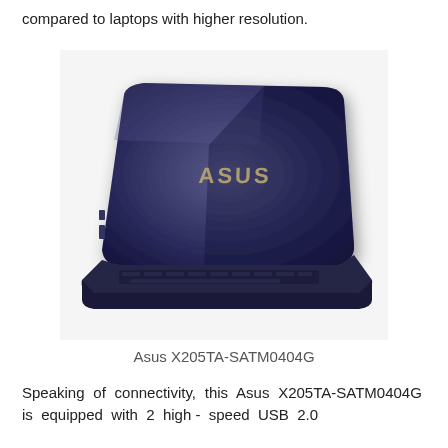compared to laptops with higher resolution.
[Figure (photo): Asus X205TA-SATM0404G laptop computer shown from the rear, displaying the dark navy/violet lid with the ASUS logo on it, and the keyboard partially visible from the back angle.]
Asus X205TA-SATM0404G
Speaking of connectivity, this Asus X205TA-SATM0404G is equipped with 2 high - speed USB 2.0